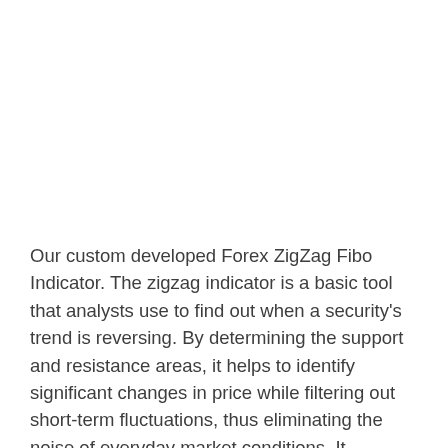Our custom developed Forex ZigZag Fibo Indicator. The zigzag indicator is a basic tool that analysts use to find out when a security's trend is reversing. By determining the support and resistance areas, it helps to identify significant changes in price while filtering out short-term fluctuations, thus eliminating the noise of everyday market conditions. It … Read more